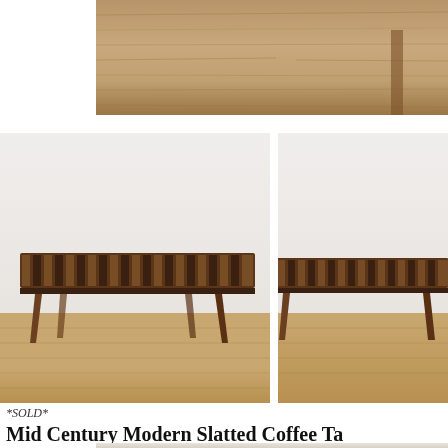[Figure (photo): Top portion of a wood furniture piece or floor, showing wooden slat or hardwood surface, cropped at top of page]
[Figure (photo): Mid century modern slatted coffee table bench viewed from front-left angle, dark walnut finish, tapered legs, on hardwood floor against white wall]
[Figure (photo): Mid century modern slatted coffee table bench viewed from different angle, dark walnut finish, tapered legs, on hardwood floor]
*SOLD*
Mid Century Modern Slatted Coffee Ta
These are 2 mid century modern slatted coffee table benches.  Th... angled design, and tapered legs: 60″W x 18.5″D x 15″H.  The secon... tapered legs: 60″W x 18″D x 15.5″H.
[Figure (photo): Partial view of another furniture item, bottom of page, light colored background]